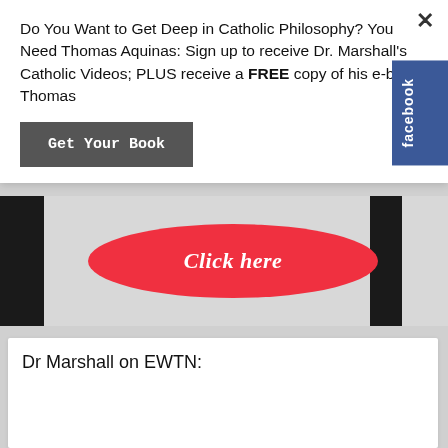Do You Want to Get Deep in Catholic Philosophy? You Need Thomas Aquinas: Sign up to receive Dr. Marshall's Catholic Videos; PLUS receive a FREE copy of his e-book: Thomas
Get Your Book
[Figure (screenshot): Video banner with black side bars, light gray center, and a red oval button with white italic text 'Click here']
[Figure (logo): Facebook sidebar button with blue background and white vertical text 'facebook']
Dr Marshall on EWTN:
[Figure (photo): Photo strip showing two men in an interview setting, one older with white hair in a suit, one younger with dark hair, with a bookcase and plants in background]